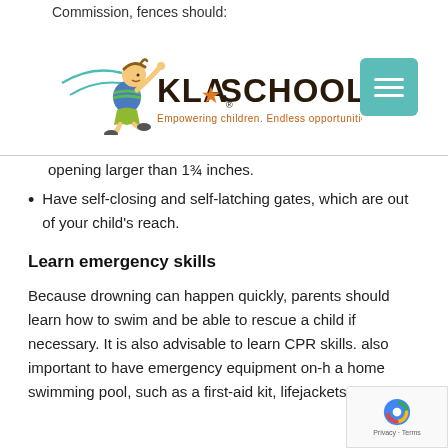Commission, fences should:
[Figure (logo): KLA Schools logo with cartoon child figure running, text 'KLA SCHOOLS' and tagline 'Empowering children. Endless opportunities.']
opening larger than 1¾ inches.
Have self-closing and self-latching gates, which are out of your child's reach.
Learn emergency skills
Because drowning can happen quickly, parents should learn how to swim and be able to rescue a child if necessary. It is also advisable to learn CPR skills. also important to have emergency equipment on-h a home swimming pool, such as a first-aid kit, lifejackets